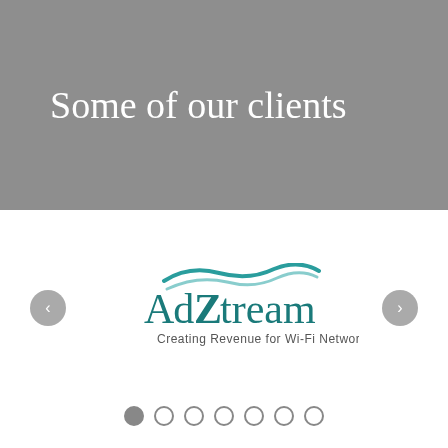Some of our clients
[Figure (logo): AdZtream logo with teal wave graphic above text. Text reads 'AdZtream' with tagline 'Creating Revenue for Wi-Fi Networks']
[Figure (infographic): Navigation carousel with left arrow button, right arrow button, and 7 pagination dots (first dot filled/active, remaining 6 empty)]